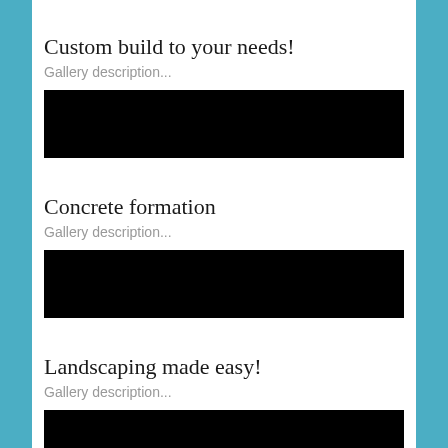Custom build to your needs!
Gallery description...
[Figure (photo): Black redacted image placeholder]
Concrete formation
Gallery description...
[Figure (photo): Black redacted image placeholder]
Landscaping made easy!
Gallery description...
[Figure (photo): Black redacted image placeholder]